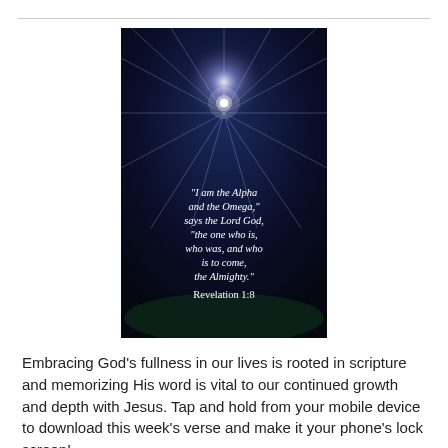[Figure (illustration): Dark blue background with a glowing cross emitting rays of light. White italic text reads: "I am the Alpha and the Omega," says the Lord God, "the one who is, who was, and who is to come, the Almighty." Revelation 1:8]
Embracing God's fullness in our lives is rooted in scripture and memorizing His word is vital to our continued growth and depth with Jesus. Tap and hold from your mobile device to download this week's verse and make it your phone's lock screen!